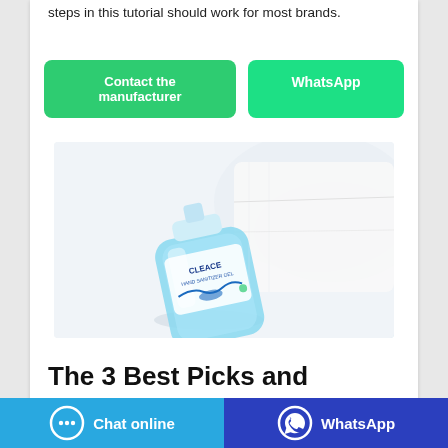steps in this tutorial should work for most brands.
[Figure (other): Two green buttons: 'Contact the manufacturer' and 'WhatsApp']
[Figure (photo): A small blue hand sanitizer gel bottle (branded 'Cleace') lying on white fabric/cloth background]
The 3 Best Picks and...
[Figure (other): Bottom bar with two buttons: 'Chat online' (blue with speech bubble icon) and 'WhatsApp' (dark blue with WhatsApp icon)]